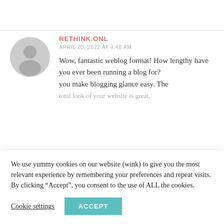[Figure (illustration): Generic grey user avatar circle with person silhouette]
RETHINK.ONL
APRIL 20, 2022 AT 9:48 AM
Wow, fantastic weblog format! How lengthy have you ever been running a blog for?
you make blogging glance easy. The
We use yummy cookies on our website (wink) to give you the most relevant experience by remembering your preferences and repeat visits. By clicking “Accept”, you consent to the use of ALL the cookies.
Cookie settings
ACCEPT